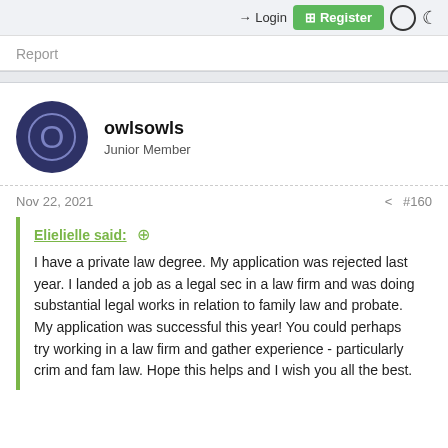Login  Register
Report
owlsowls
Junior Member
Nov 22, 2021  #160
Elielielle said: ⊕

I have a private law degree. My application was rejected last year. I landed a job as a legal sec in a law firm and was doing substantial legal works in relation to family law and probate. My application was successful this year! You could perhaps try working in a law firm and gather experience - particularly crim and fam law. Hope this helps and I wish you all the best.